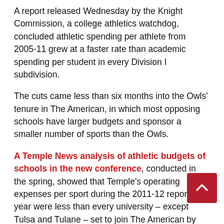A report released Wednesday by the Knight Commission, a college athletics watchdog, concluded athletic spending per athlete from 2005-11 grew at a faster rate than academic spending per student in every Division I subdivision.
The cuts came less than six months into the Owls' tenure in The American, in which most opposing schools have larger budgets and sponsor a smaller number of sports than the Owls.
A Temple News analysis of athletic budgets of schools in the new conference, conducted in the spring, showed that Temple's operating expenses per sport during the 2011-12 reporting year were less than every university – except Tulsa and Tulane – set to join The American by 2015.
The comparison was conducted by...